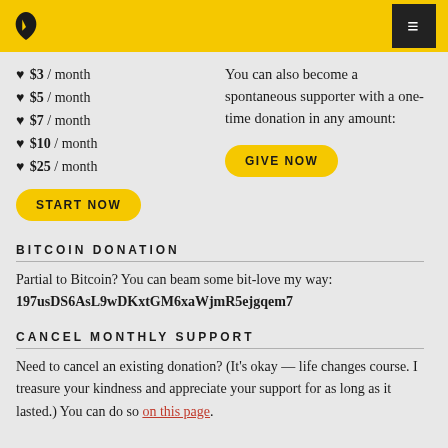Navigation bar with logo and menu button
♥ $3 / month
♥ $5 / month
♥ $7 / month
♥ $10 / month
♥ $25 / month
START NOW
You can also become a spontaneous supporter with a one-time donation in any amount:
GIVE NOW
BITCOIN DONATION
Partial to Bitcoin? You can beam some bit-love my way:
197usDS6AsL9wDKxtGM6xaWjmR5ejgqem7
CANCEL MONTHLY SUPPORT
Need to cancel an existing donation? (It's okay — life changes course. I treasure your kindness and appreciate your support for as long as it lasted.) You can do so on this page.